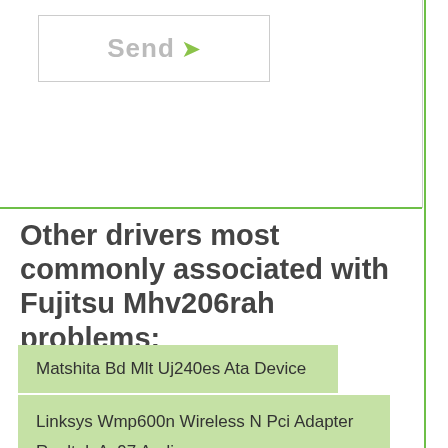[Figure (screenshot): Send button with arrow icon at top of page]
Other drivers most commonly associated with Fujitsu Mhv206rah problems:
Matshita Bd Mlt Uj240es Ata Device
Linksys Wmp600n Wireless N Pci Adapter With Dual Band
Realtek Ac97 Audio